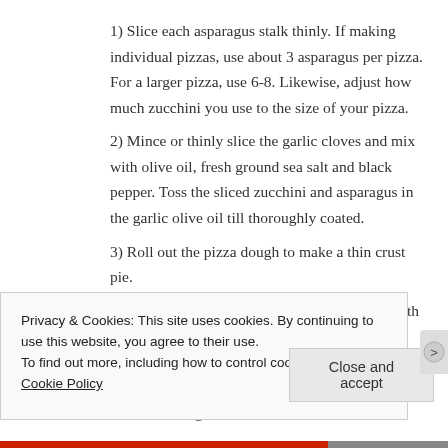1) Slice each asparagus stalk thinly. If making individual pizzas, use about 3 asparagus per pizza. For a larger pizza, use 6-8. Likewise, adjust how much zucchini you use to the size of your pizza.
2) Mince or thinly slice the garlic cloves and mix with olive oil, fresh ground sea salt and black pepper. Toss the sliced zucchini and asparagus in the garlic olive oil till thoroughly coated.
3) Roll out the pizza dough to make a thin crust pie.
4) Spread salsa over (I used homemade salsa with dried ancho chilies, fresh jalapeno, tomatoes, onions and garlic). Layer the zucchini and asparagus onto it. (Or goats cheese first, if using). Make sure to get all
Privacy & Cookies: This site uses cookies. By continuing to use this website, you agree to their use.
To find out more, including how to control cookies, see here: Cookie Policy
Close and accept